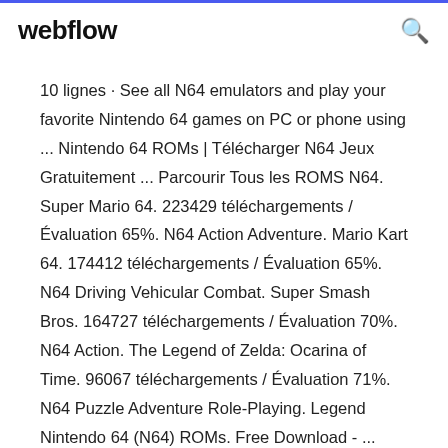webflow
10 lignes · See all N64 emulators and play your favorite Nintendo 64 games on PC or phone using ... Nintendo 64 ROMs | Télécharger N64 Jeux Gratuitement ... Parcourir Tous les ROMS N64. Super Mario 64. 223429 téléchargements / Évaluation 65%. N64 Action Adventure. Mario Kart 64. 174412 téléchargements / Évaluation 65%. N64 Driving Vehicular Combat. Super Smash Bros. 164727 téléchargements / Évaluation 70%. N64 Action. The Legend of Zelda: Ocarina of Time. 96067 téléchargements / Évaluation 71%. N64 Puzzle Adventure Role-Playing. Legend Nintendo 64 (N64) ROMs. Free Download - ... Download Nintendo 64